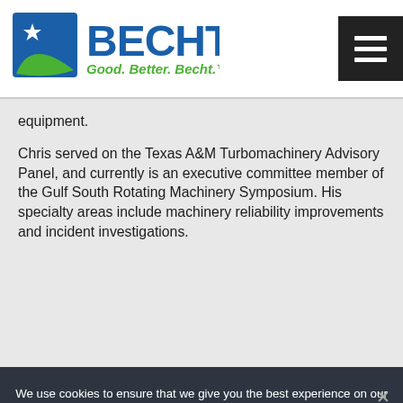[Figure (logo): Becht company logo with blue B letter mark and green swoosh, blue BECHT text, green tagline 'Good. Better. Becht.']
equipment.
Chris served on the Texas A&M Turbomachinery Advisory Panel, and currently is an executive committee member of the Gulf South Rotating Machinery Symposium. His specialty areas include machinery reliability improvements and incident investigations.
We use cookies to ensure that we give you the best experience on our website. By continuing to use this site you are agreeing to these cookies. Our privacy policy has been updated. Please click here to view it.
Ok